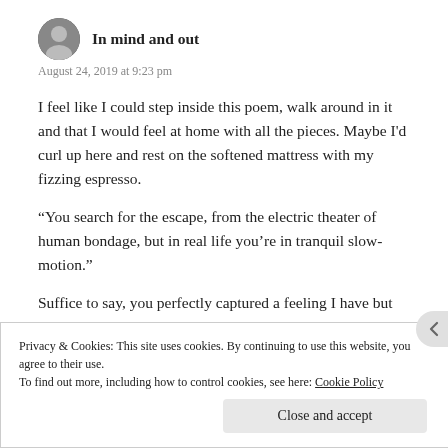In mind and out
August 24, 2019 at 9:23 pm
I feel like I could step inside this poem, walk around in it and that I would feel at home with all the pieces. Maybe I'd curl up here and rest on the softened mattress with my fizzing espresso.
“You search for the escape, from the electric theater of human bondage, but in real life you’re in tranquil slow-motion.”
Suffice to say, you perfectly captured a feeling I have but
Privacy & Cookies: This site uses cookies. By continuing to use this website, you agree to their use.
To find out more, including how to control cookies, see here: Cookie Policy
Close and accept